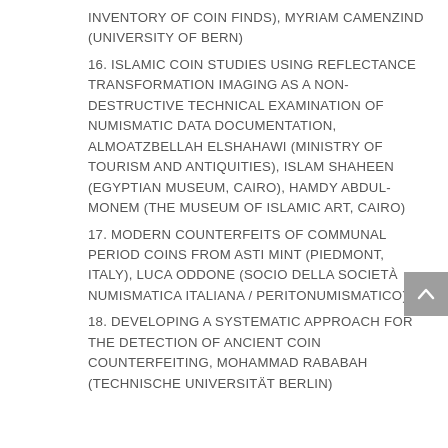INVENTORY OF COIN FINDS), MYRIAM CAMENZIND (UNIVERSITY OF BERN)
16. ISLAMIC COIN STUDIES USING REFLECTANCE TRANSFORMATION IMAGING AS A NON-DESTRUCTIVE TECHNICAL EXAMINATION OF NUMISMATIC DATA DOCUMENTATION, ALMOATZBELLAH ELSHAHAWI (MINISTRY OF TOURISM AND ANTIQUITIES), ISLAM SHAHEEN (EGYPTIAN MUSEUM, CAIRO), HAMDY ABDUL-MONEM (THE MUSEUM OF ISLAMIC ART, CAIRO)
17. MODERN COUNTERFEITS OF COMMUNAL PERIOD COINS FROM ASTI MINT (PIEDMONT, ITALY), LUCA ODDONE (SOCIO DELLA SOCIETÀ NUMISMATICA ITALIANA / PERITONUMISMATICO)
18. DEVELOPING A SYSTEMATIC APPROACH FOR THE DETECTION OF ANCIENT COIN COUNTERFEITING, MOHAMMAD RABABAH (TECHNISCHE UNIVERSITÄT BERLIN)